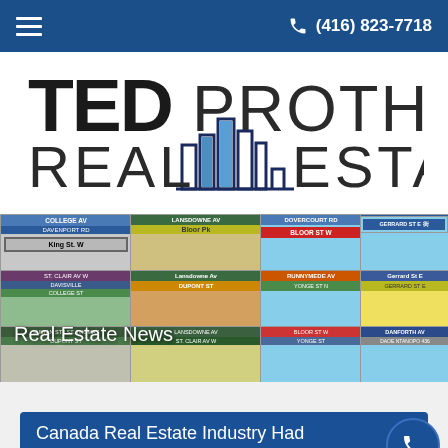(416) 823-7718
[Figure (logo): Ted Prothero Real Estate logo with city skyline graphic]
[Figure (photo): Collage of Toronto street signs including King St. W, Danforth Av, Gerrard St E, Bloor St W, and others]
Real Estate News
Canada Real Estate Industry Had Forecast Slow Price Growth In Next